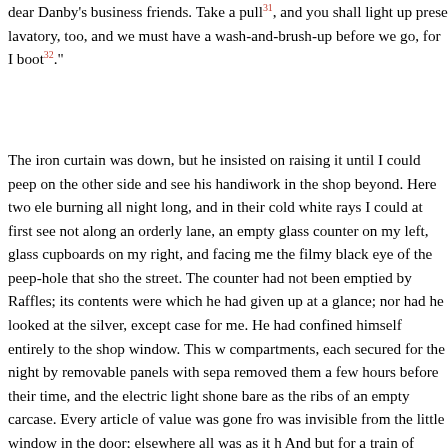dear Danby's business friends. Take a pull³¹, and you shall light up prese lavatory, too, and we must have a wash-and-brush-up before we go, for I boot³²."
The iron curtain was down, but he insisted on raising it until I could peep on the other side and see his handiwork in the shop beyond. Here two ele burning all night long, and in their cold white rays I could at first see not along an orderly lane, an empty glass counter on my left, glass cupboards on my right, and facing me the filmy black eye of the peep-hole that sho the street. The counter had not been emptied by Raffles; its contents were which he had given up at a glance; nor had he looked at the silver, except case for me. He had confined himself entirely to the shop window. This w compartments, each secured for the night by removable panels with sepa removed them a few hours before their time, and the electric light shone bare as the ribs of an empty carcase. Every article of value was gone fro was invisible from the little window in the door; elsewhere all was as it h And but for a train of mangled doors behind the iron curtain, a bottle of w with which liberties had been taken, a rather black towel in the lavatory, there, and our finger-marks on the dusty banisters³⁴, not a trace of our vis